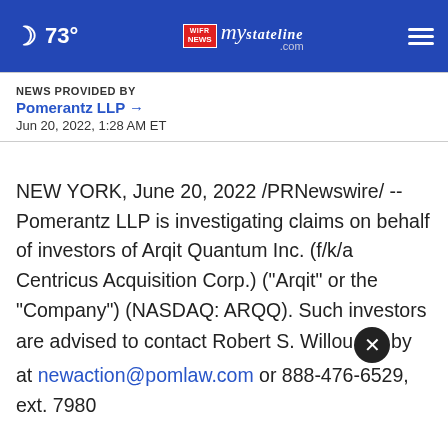73° mystateline.com NEWS
NEWS PROVIDED BY
Pomerantz LLP →
Jun 20, 2022, 1:28 AM ET
NEW YORK, June 20, 2022 /PRNewswire/ -- Pomerantz LLP is investigating claims on behalf of investors of Arqit Quantum Inc. (f/k/a Centricus Acquisition Corp.) ("Arqit" or the "Company") (NASDAQ: ARQQ). Such investors are advised to contact Robert S. Willoughby at newaction@pomlaw.com or 888-476-6529, ext. 7980